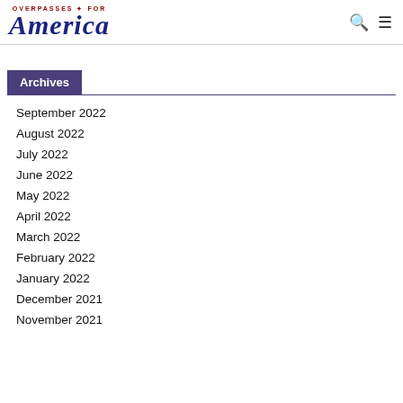OVERPASSES FOR America
Archives
September 2022
August 2022
July 2022
June 2022
May 2022
April 2022
March 2022
February 2022
January 2022
December 2021
November 2021